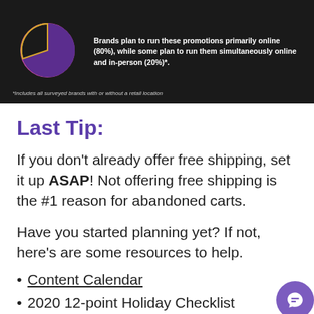[Figure (pie-chart): Brands plan to run these promotions primarily online (80%), while some plan to run them simultaneously online and in-person (20%)*.]
*Includes all surveyed brands with or without a retail location
Last Tip:
If you don't already offer free shipping, set it up ASAP! Not offering free shipping is the #1 reason for abandoned carts.
Have you started planning yet? If not, here's are some resources to help.
Content Calendar
2020 12-point Holiday Checklist